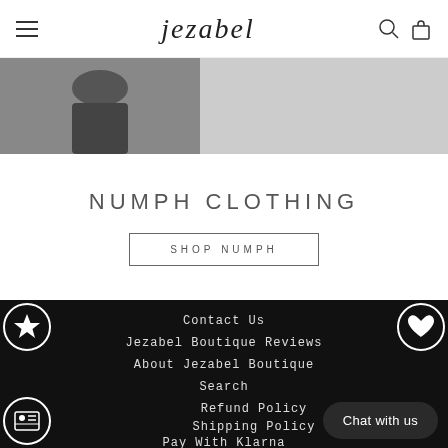jezabel
[Figure (photo): Partial image of a person wearing dark jeans, showing torso and hands]
NUMPH CLOTHING
SHOP NUMPH
Contact Us
Jezabel Boutique Reviews
About Jezabel Boutique
Search
Refund Policy
Shipping Policy
Pay With Klarna
Chat with us